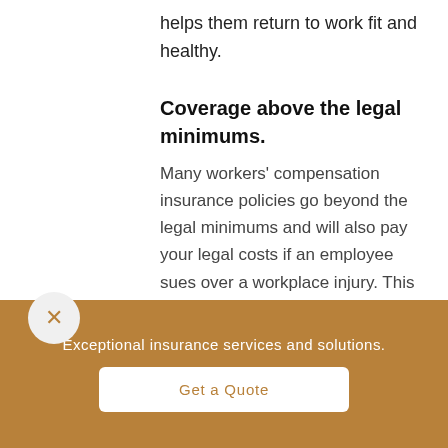helps them return to work fit and healthy.
Coverage above the legal minimums.
Many workers' compensation insurance policies go beyond the legal minimums and will also pay your legal costs if an employee sues over a workplace injury. This is an important safeguard to protect your business.
Exceptional insurance services and solutions.
Get a Quote